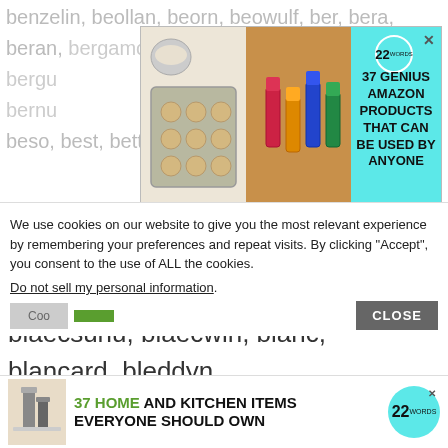benzelin, beollan, beorn, beowulf, ber, bera, beran, bergu, bernu, beso, best, bettila, biarni, blea, bigot, bli, blaca,
[Figure (infographic): Advertisement banner: '37 Genius Amazon Products That Can Be Used By Anyone' with 22words logo badge, images of cookie baking tray and cosmetic products on a teal background. Close X button in top right.]
blacre, blaec, blaecmann, blaecmer, blaecstan, blaecsunu, blaecwin, blanc, blancard, bleddyn, bleio, bletcu, blize, blohin, bo, boda, bodda, bodin, boia, boli, bolla, bolli, boln, bolne, bondi, bono, bordin, boselin, bosi, bosker, boso, bosten,
We use cookies on our website to give you the most relevant experience by remembering your preferences and repeat visits. By clicking “Accept”, you consent to the use of ALL the cookies.
Do not sell my personal information.
[Figure (infographic): Bottom advertisement bar: '37 Home and Kitchen Items Everyone Should Own' with kitchen items image and 22words logo badge. CLOSE button visible.]